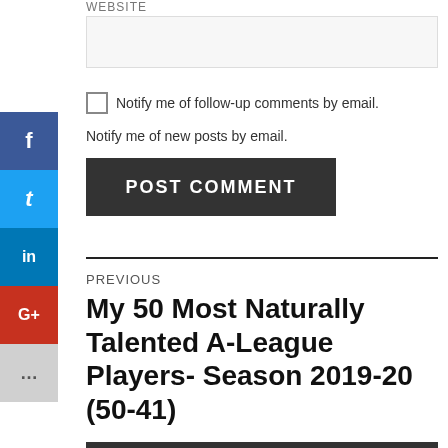WEBSITE
Notify me of follow-up comments by email.
Notify me of new posts by email.
POST COMMENT
PREVIOUS
My 50 Most Naturally Talented A-League Players- Season 2019-20 (50-41)